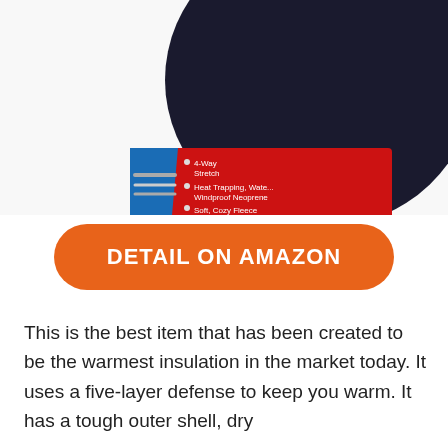[Figure (photo): Product photo of a dark navy/black rounded hat or cap with a red product label card showing Neofleece branding. The label reads: 4-Way Stretch, Heat Trapping, Water, Windproof Neoprene, Soft, Cozy Fleece. Neofleece — The Warmest Insulation On Earth.]
DETAIL ON AMAZON
This is the best item that has been created to be the warmest insulation in the market today. It uses a five-layer defense to keep you warm. It has a tough outer shell, dry